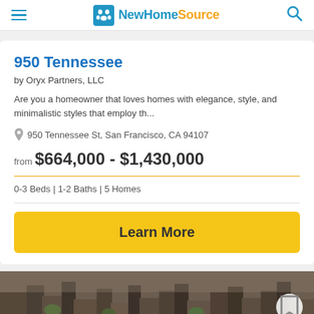NewHomeSource
950 Tennessee
by Oryx Partners, LLC
Are you a homeowner that loves homes with elegance, style, and minimalistic styles that employ th...
950 Tennessee St, San Francisco, CA 94107
from $664,000 - $1,430,000
0-3 Beds | 1-2 Baths | 5 Homes
Learn More
[Figure (photo): Aerial photograph of a city skyline, possibly San Francisco, with buildings in muted tones]